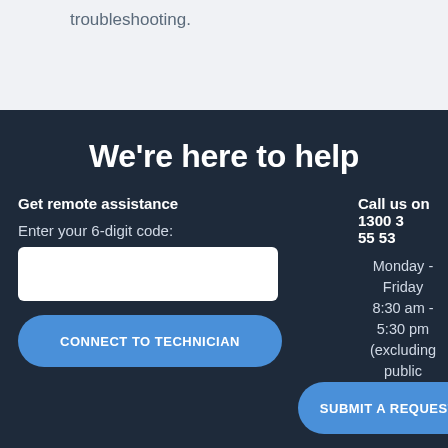troubleshooting.
We're here to help
Get remote assistance
Call us on 1300 3 55 53
Enter your 6-digit code:
Monday - Friday 8:30 am - 5:30 pm (excluding public holidays)
CONNECT TO TECHNICIAN
SUBMIT A REQUEST